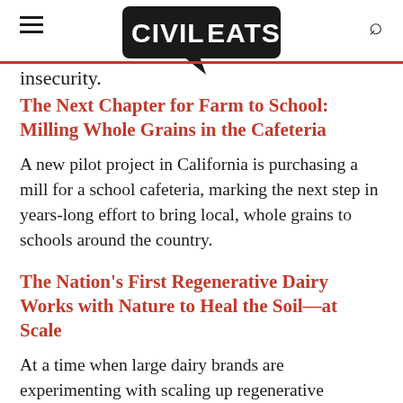Civil Eats
insecurity.
The Next Chapter for Farm to School: Milling Whole Grains in the Cafeteria
A new pilot project in California is purchasing a mill for a school cafeteria, marking the next step in years-long effort to bring local, whole grains to schools around the country.
The Nation's First Regenerative Dairy Works with Nature to Heal the Soil—at Scale
At a time when large dairy brands are experimenting with scaling up regenerative practices, Alexandre Family Farm is working to set the standard for the future of the industry.